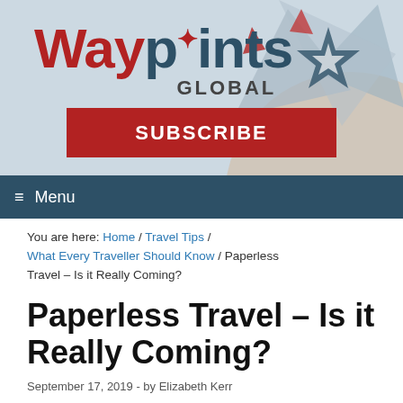[Figure (logo): Waypoints Global logo with compass rose graphic on a light blue-grey banner background, with a red SUBSCRIBE button below]
≡ Menu
You are here: Home / Travel Tips / What Every Traveller Should Know / Paperless Travel – Is it Really Coming?
Paperless Travel – Is it Really Coming?
September 17, 2019 - by Elizabeth Kerr